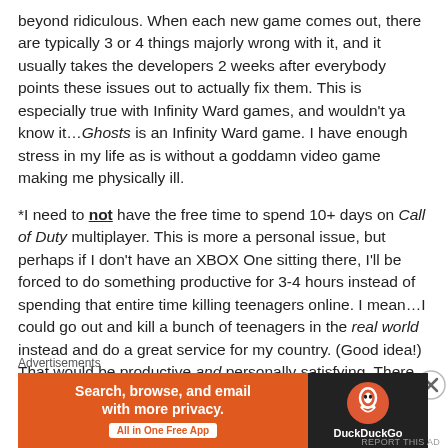beyond ridiculous. When each new game comes out, there are typically 3 or 4 things majorly wrong with it, and it usually takes the developers 2 weeks after everybody points these issues out to actually fix them. This is especially true with Infinity Ward games, and wouldn't ya know it…Ghosts is an Infinity Ward game. I have enough stress in my life as is without a goddamn video game making me physically ill.
*I need to not have the free time to spend 10+ days on Call of Duty multiplayer. This is more a personal issue, but perhaps if I don't have an XBOX One sitting there, I'll be forced to do something productive for 3-4 hours instead of spending that entire time killing teenagers online. I mean…I could go out and kill a bunch of teenagers in the real world instead and do a great service for my country. (Good idea!) That would be productive and personally satisfying. There
Advertisements
[Figure (other): DuckDuckGo advertisement banner: orange left panel with text 'Search, browse, and email with more privacy. All in One Free App' and dark right panel with DuckDuckGo logo and name.]